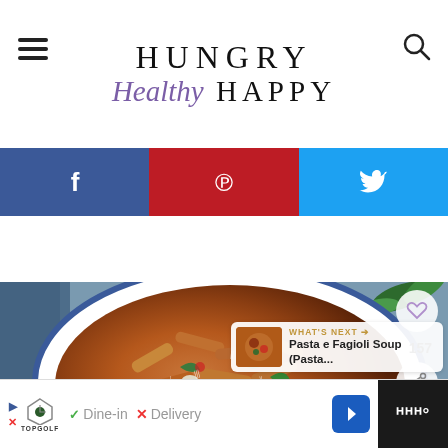HUNGRY Healthy HAPPY
[Figure (screenshot): Social media share bar with Facebook (blue), Pinterest (red), and Twitter (cyan) icons]
[Figure (photo): Bowl of penne pasta with tomato sauce, white beans, spinach, and grated parmesan cheese, with basil leaves in background. Has heart save button (157 saves) and share button on right side. 'What's Next' card showing Pasta e Fagioli Soup thumbnail.]
[Figure (screenshot): Advertisement bar: Topgolf logo with Dine-in checkmark and Delivery X options, navigation arrow button, dark right panel with 'W°' text]